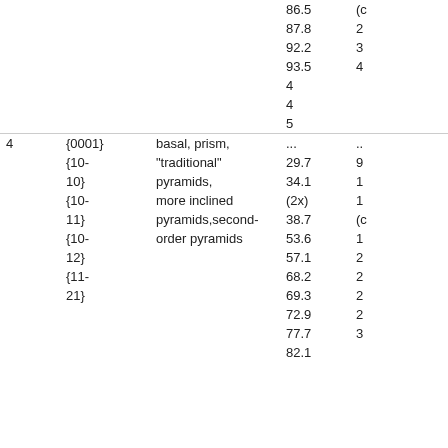| Col1 | Col2 | Col3 | Col4 | Col5 |
| --- | --- | --- | --- | --- |
|  |  |  | 86.5 | (c |
|  |  |  | 87.8 | 2 |
|  |  |  | 92.2 | 3 |
|  |  |  | 93.5 | 4 |
|  |  |  | 4 |  |
|  |  |  | 4 |  |
|  |  |  | 5 |  |
| 4 | {0001} | basal, prism, | ... | .. |
|  | {10-10} | “traditional” | 29.7 | 9 |
|  | {10-10} | pyramids, | 34.1 | 1 |
|  | {10-11} | more inclined | (2x) | 1 |
|  | {10-11} | pyramids,second- | 38.7 | (c |
|  | {10-12} | order pyramids | 53.6 | 1 |
|  | {10-12} |  | 57.1 | 2 |
|  | {11-21} |  | 68.2 | 2 |
|  | {11-21} |  | 69.3 | 2 |
|  |  |  | 72.9 | 2 |
|  |  |  | 77.7 | 3 |
|  |  |  | 82.1 |  |